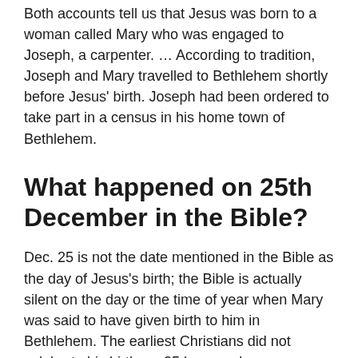Both accounts tell us that Jesus was born to a woman called Mary who was engaged to Joseph, a carpenter. … According to tradition, Joseph and Mary travelled to Bethlehem shortly before Jesus' birth. Joseph had been ordered to take part in a census in his home town of Bethlehem.
What happened on 25th December in the Bible?
Dec. 25 is not the date mentioned in the Bible as the day of Jesus's birth; the Bible is actually silent on the day or the time of year when Mary was said to have given birth to him in Bethlehem. The earliest Christians did not celebrate his birth. … 25 became known as Jesus's birthday.